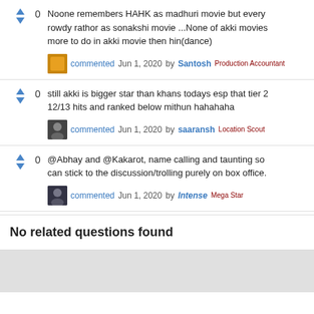Noone remembers HAHK as madhuri movie but every... rowdy rathor as sonakshi movie ...None of akki movies... more to do in akki movie then hin(dance)
commented Jun 1, 2020 by Santosh Production Accountant
still akki is bigger star than khans todays esp that tier 2... 12/13 hits and ranked below mithun hahahaha
commented Jun 1, 2020 by saaransh Location Scout
@Abhay and @Kakarot, name calling and taunting so... can stick to the discussion/trolling purely on box office.
commented Jun 1, 2020 by Intense Mega Star
No related questions found